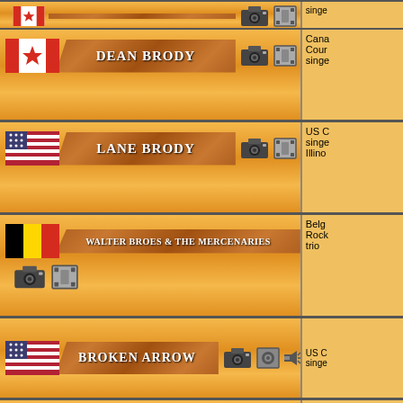| Artist | Info |
| --- | --- |
| DEAN BRODY | Canada Country singer |
| LANE BRODY | US Country singer Illinois |
| WALTER BROES & THE MERCENARIES | Belgium Rock trio |
| BROKEN ARROW | US Country singer |
| LISA BROHOP | Canada Country singer |